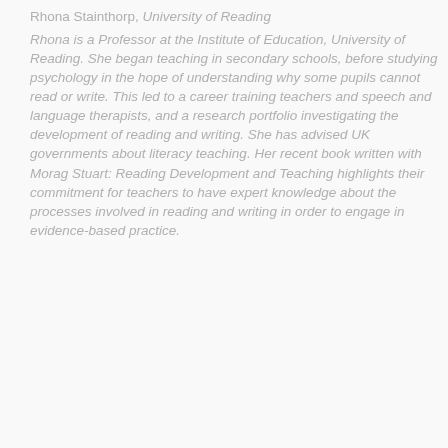Rhona Stainthorp, University of Reading
Rhona is a Professor at the Institute of Education, University of Reading. She began teaching in secondary schools, before studying psychology in the hope of understanding why some pupils cannot read or write. This led to a career training teachers and speech and language therapists, and a research portfolio investigating the development of reading and writing. She has advised UK governments about literacy teaching. Her recent book written with Morag Stuart: Reading Development and Teaching highlights their commitment for teachers to have expert knowledge about the processes involved in reading and writing in order to engage in evidence-based practice.